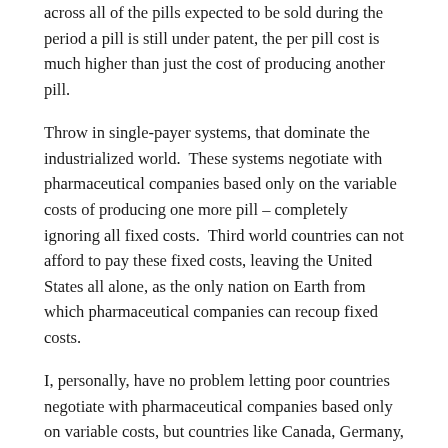across all of the pills expected to be sold during the period a pill is still under patent, the per pill cost is much higher than just the cost of producing another pill.
Throw in single-payer systems, that dominate the industrialized world.  These systems negotiate with pharmaceutical companies based only on the variable costs of producing one more pill – completely ignoring all fixed costs.  Third world countries can not afford to pay these fixed costs, leaving the United States all alone, as the only nation on Earth from which pharmaceutical companies can recoup fixed costs.
I, personally, have no problem letting poor countries negotiate with pharmaceutical companies based only on variable costs, but countries like Canada, Germany, and England can afford to carry their fair share of the fixed costs, and they should be made to do so. This would increase the cost of pharmaceuticals in these countries, but it would reduce the cost of pharmaceuticals here.